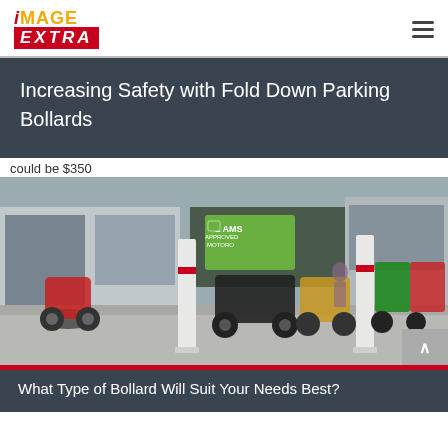IMAGE EXTRA — navigation bar with logo and hamburger menu
Increasing Safety with Fold Down Parking Bollards
could be $350
[Figure (photo): Photograph of white parking bollards in front of a motorcycle dealership. Multiple motorcycles visible including red, black, yellow and green bikes. A sign reads 'LAMS Approved Motorcycles'. Two tall white bollards with red bands are prominent in the foreground.]
What Type of Bollard Will Suit Your Needs Best?